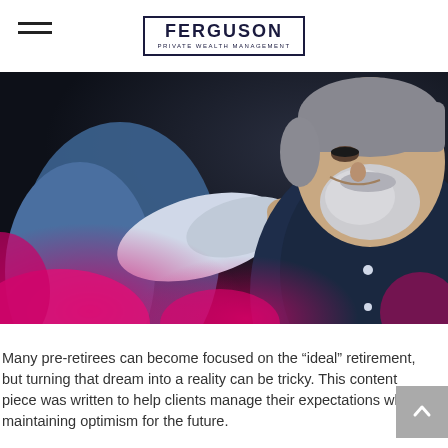FERGUSON PRIVATE WEALTH MANAGEMENT
[Figure (photo): Older bearded man in dark blue shirt smiling downward, with another person's hand on his shoulder, dark background with pink/magenta bokeh in foreground]
Many pre-retirees can become focused on the “ideal” retirement, but turning that dream into a reality can be tricky. This content piece was written to help clients manage their expectations while maintaining optimism for the future.